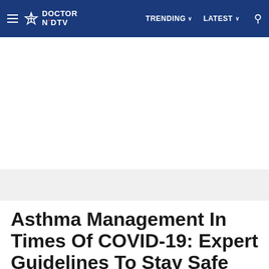≡ ✳ DOCTOR NDTV   TRENDING ∨   LATEST ∨   🔍
[Figure (other): Advertisement / blank white space placeholder area]
Asthma Management In Times Of COVID-19: Expert Guidelines To Stay Safe